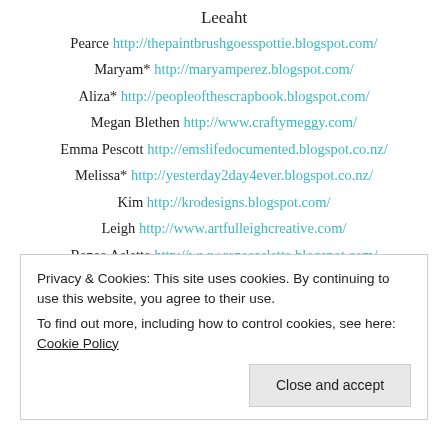Leeaht
Pearce http://thepaintbrushgoesspottie.blogspot.com/
Maryam* http://maryamperez.blogspot.com/
Aliza* http://peopleofthescrapbook.blogspot.com/
Megan Blethen http://www.craftymeggy.com/
Emma Pescott http://emslifedocumented.blogspot.co.nz/
Melissa* http://yesterday2day4ever.blogspot.co.nz/
Kim http://krodesigns.blogspot.com/
Leigh http://www.artfulleighcreative.com/
Renee Aslette http://www.reneeaslette.blogspot.com/
Kat* http://kraftykat9.blogspot.com/
Privacy & Cookies: This site uses cookies. By continuing to use this website, you agree to their use.
To find out more, including how to control cookies, see here: Cookie Policy
Close and accept